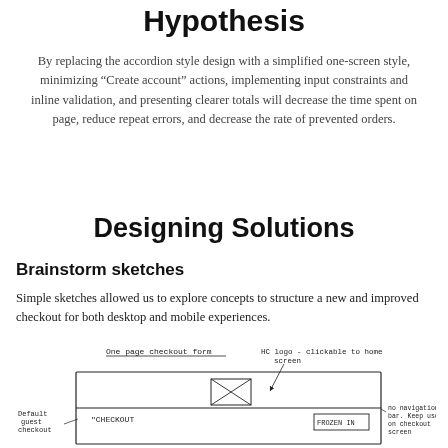Hypothesis
By replacing the accordion style design with a simplified one-screen style, minimizing “Create account” actions, implementing input constraints and inline validation, and presenting clearer totals will decrease the time spent on page, reduce repeat errors, and decrease the rate of prevented orders.
Designing Solutions
Brainstorm sketches
Simple sketches allowed us to explore concepts to structure a new and improved checkout for both desktop and mobile experiences.
[Figure (illustration): A hand-drawn brainstorm sketch of a one-page checkout form for desktop with annotations. Labels include: 'One page checkout form', 'HC logo - clickable to home screen', 'Default guest checkout', 'CHECKOUT', 'FROZEN IN', and 'no navigation bar. Keep users on checkout screen'.]